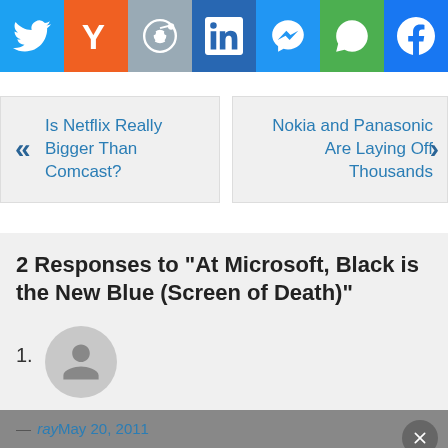[Figure (infographic): Social sharing bar with Twitter, Yahoo, Reddit, LinkedIn, Messenger, WhatsApp, and Facebook icons]
Is Netflix Really Bigger Than Comcast?
Nokia and Panasonic Are Laying Off Thousands
2 Responses to “At Microsoft, Black is the New Blue (Screen of Death)”
1.
— ray May 20, 2011
An amusing column: The Blue Screen of Death is about to turn black, computer industry insiders are saying, but is